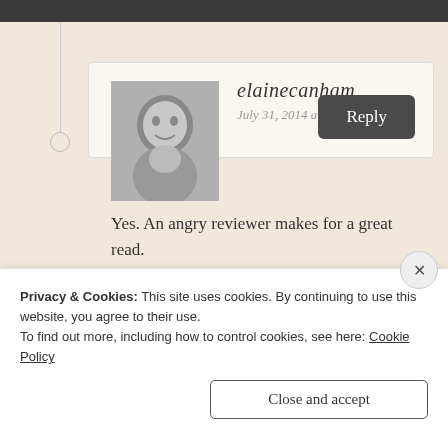elainecanham
July 31, 2014 at 10:03 am
[Figure (photo): Black and white portrait photo of a person (elainecanham)]
Yes. An angry reviewer makes for a great read.
★ Like
Reply
Privacy & Cookies: This site uses cookies. By continuing to use this website, you agree to their use.
To find out more, including how to control cookies, see here: Cookie Policy
Close and accept